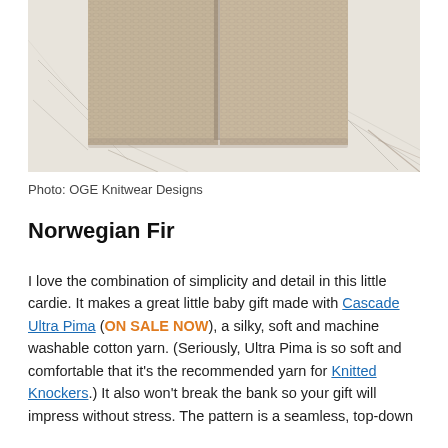[Figure (photo): Close-up photograph of a beige/tan knitted fabric swatch on a white scratched surface, showing the texture of the knit stitch. Two panels of knitting are visible side by side.]
Photo: OGE Knitwear Designs
Norwegian Fir
I love the combination of simplicity and detail in this little cardie. It makes a great little baby gift made with Cascade Ultra Pima (ON SALE NOW), a silky, soft and machine washable cotton yarn. (Seriously, Ultra Pima is so soft and comfortable that it’s the recommended yarn for Knitted Knockers.) It also won’t break the bank so your gift will impress without stress. The pattern is a seamless, top-down